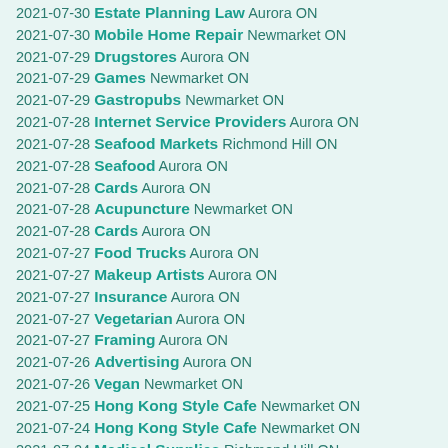2021-07-30 Estate Planning Law Aurora ON
2021-07-30 Mobile Home Repair Newmarket ON
2021-07-29 Drugstores Aurora ON
2021-07-29 Games Newmarket ON
2021-07-29 Gastropubs Newmarket ON
2021-07-28 Internet Service Providers Aurora ON
2021-07-28 Seafood Markets Richmond Hill ON
2021-07-28 Seafood Aurora ON
2021-07-28 Cards Aurora ON
2021-07-28 Acupuncture Newmarket ON
2021-07-28 Cards Aurora ON
2021-07-27 Food Trucks Aurora ON
2021-07-27 Makeup Artists Aurora ON
2021-07-27 Insurance Aurora ON
2021-07-27 Vegetarian Aurora ON
2021-07-27 Framing Aurora ON
2021-07-26 Advertising Aurora ON
2021-07-26 Vegan Newmarket ON
2021-07-25 Hong Kong Style Cafe Newmarket ON
2021-07-24 Hong Kong Style Cafe Newmarket ON
2021-07-24 Medical Supplies Richmond Hill ON
2021-07-24 Coffee Aurora ON